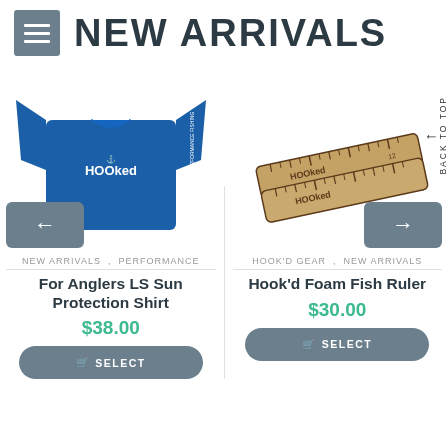NEW ARRIVALS
[Figure (photo): Blue long sleeve Hooked performance sun protection shirt]
[Figure (photo): Hook'd foam fish ruler - wooden rulers with Hooked branding]
NEW ARRIVALS , PERFORMANCE
For Anglers LS Sun Protection Shirt
$38.00
HOOK'D GEAR , NEW ARRIVALS
Hook'd Foam Fish Ruler
$30.00
SELECT
SELECT
BACK TO TOP